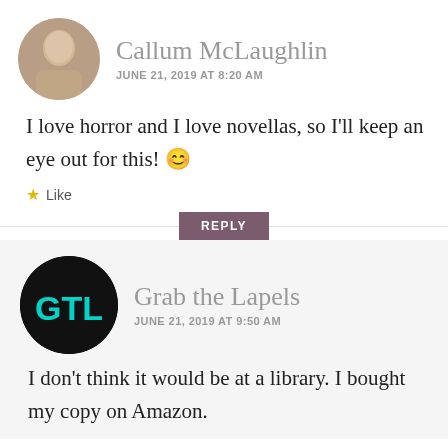Callum McLaughlin
JUNE 21, 2019 AT 8:20 AM
I love horror and I love novellas, so I’ll keep an eye out for this! 😊
★ Like
REPLY
Grab the Lapels
JUNE 21, 2019 AT 9:50 AM
I don’t think it would be at a library. I bought my copy on Amazon.